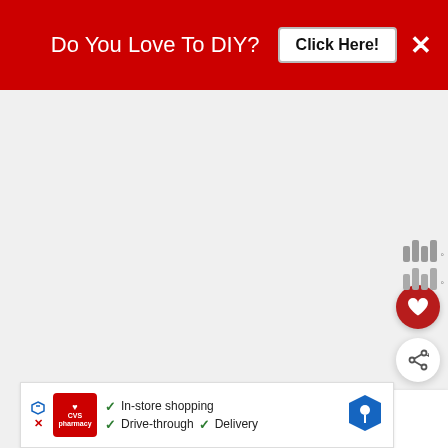Do You Love To DIY? Click Here!
[Figure (other): Large empty/white content area below the banner]
[Figure (other): Red circular heart (favorite) button on right side]
[Figure (other): White circular share button on right side]
WHAT'S NEXT → Easy Wooden Sticker Sign
[Figure (other): CVS Pharmacy advertisement banner at bottom: In-store shopping, Drive-through, Delivery]
[Figure (other): Weather widget dots on right side]